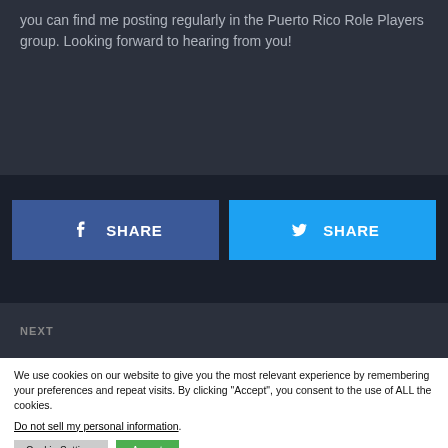you can find me posting regularly in the Puerto Rico Role Players group. Looking forward to hearing from you!
[Figure (other): Facebook Share button (blue) and Twitter Share button (cyan) side by side]
NEXT
We use cookies on our website to give you the most relevant experience by remembering your preferences and repeat visits. By clicking “Accept”, you consent to the use of ALL the cookies.
Do not sell my personal information.
Cookie Settings
Accept